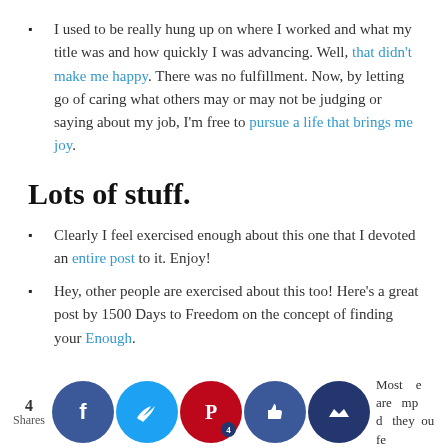I used to be really hung up on where I worked and what my title was and how quickly I was advancing. Well, that didn't make me happy. There was no fulfillment. Now, by letting go of caring what others may or may not be judging or saying about my job, I'm free to pursue a life that brings me joy.
Lots of stuff.
Clearly I feel exercised enough about this one that I devoted an entire post to it. Enjoy!
Hey, other people are exercised about this too! Here's a great post by 1500 Days to Freedom on the concept of finding your Enough.
Fancy vacations, entertainment, restaurants, things of that ilk.
Most are pump d they ou feel good in the moment, ultimately don't fulfill and der...